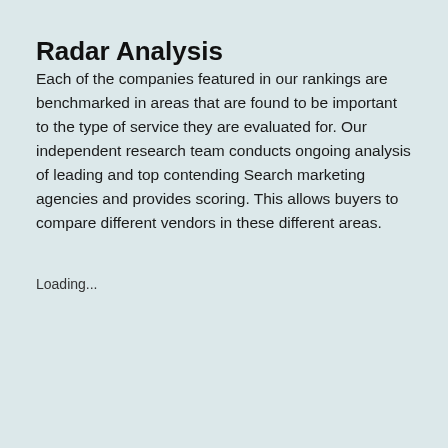Radar Analysis
Each of the companies featured in our rankings are benchmarked in areas that are found to be important to the type of service they are evaluated for. Our independent research team conducts ongoing analysis of leading and top contending Search marketing agencies and provides scoring. This allows buyers to compare different vendors in these different areas.
Loading...